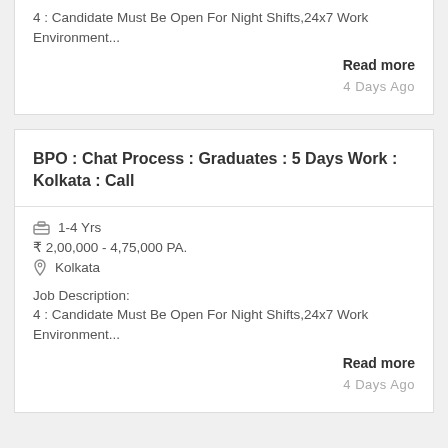4 : Candidate Must Be Open For Night Shifts,24x7 Work Environment...
Read more
4 Days Ago
BPO : Chat Process : Graduates : 5 Days Work : Kolkata : Call
1-4 Yrs
₹ 2,00,000 - 4,75,000 PA.
Kolkata
Job Description:
4 : Candidate Must Be Open For Night Shifts,24x7 Work Environment...
Read more
4 Days Ago